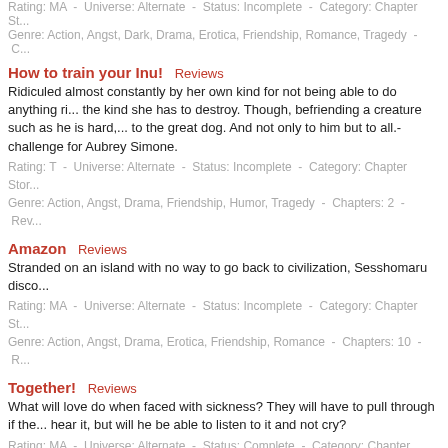Rating: MA - Universe: Alternate - Status: Incomplete - Category: Chapter Sto...
Genre: Action, Angst, Dark, Drama, Erotica, Friendship, Romance, Tragedy - C...
How to train your Inu! Reviews
Ridiculed almost constantly by her own kind for not being able to do anything ri... the kind she has to destroy. Though, befriending a creature such as he is hard,... to the great dog. And not only to him but to all.- challenge for Aubrey Simone.
Rating: T - Universe: Alternate - Status: Incomplete - Category: Chapter Sto...
Genre: Action, Angst, Drama, Friendship, Humor, Tragedy - Chapters: 2 - Rev...
Amazon Reviews
Stranded on an island with no way to go back to civilization, Sesshomaru disco...
Rating: MA - Universe: Alternate - Status: Incomplete - Category: Chapter St...
Genre: Action, Angst, Drama, Erotica, Friendship, Romance - Chapters: 10 - R...
Together! Reviews
What will love do when faced with sickness? They will have to pull through if the... hear it, but will he be able to listen to it and not cry?
Rating: MA - Universe: Alternate - Status: Complete - Category: Chapter Sto...
Genre: Angst, Dark, Drama, Friendship, Romance, Tragedy, Verse - Chapters:...
Types of Love Reviews
Fate plays many games, but when she issues a challenge for two very different... types of games can fate play?
Rating: MA - Universe: Alternate - Status: Complete - Category: Chapter Sto...
Genre: Erotica, Friendship, Humor, Kink, Romance - Chapters: 3 - Reviews: 4...
Dreams Reviews